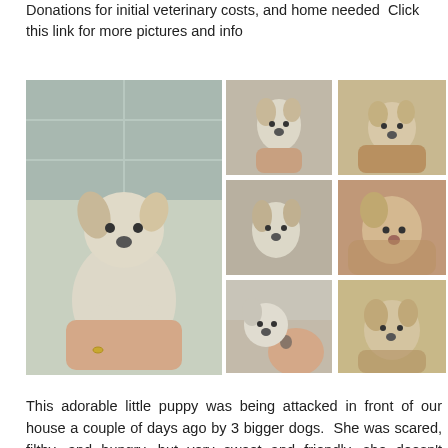Donations for initial veterinary costs, and home needed  Click this link for more pictures and info
[Figure (photo): Large photo of a small fluffy white/grey puppy being held by a person's hands against a tiled wall background]
[Figure (photo): Grid of 6 small photos showing the same puppy and similar small dogs from various angles, being held by people]
This adorable little puppy was being attacked in front of our house a couple of days ago by 3 bigger dogs.  She was scared, filthy, and hungry, but very sweet and friendly, she doesn't appear to have been abused by humans. We're trying to raise funds to get her de-wormed, vaccinated, and neutered, and with the help of Rescate Animal Cuenca, we'll try to find her a forever home.  This girl's really hard to resist, if I didn't have 5 dogs already, I would have to keep her for sure, she's so sweet, snuggly, and just adorable.  The